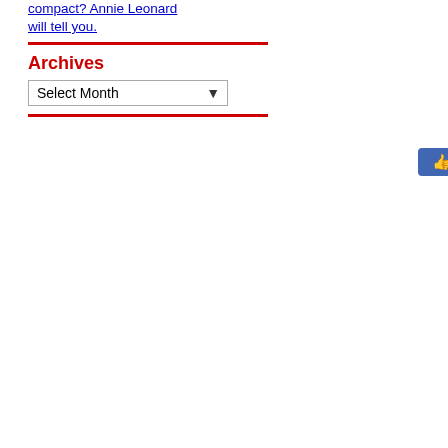compact? Annie Leonard will tell you.
Archives
Select Month
109 people like this. Sign Up to see wh
19 Comments »
1. Yes yes yes!! Love this video
Comment by Marley — June 7, 2...
2. Awesome – loved it!
Comment by Bex — June 7, 2010
3. fantastic! Made me cry. Will m... She is 11 and beginning to ex... she has two older sisters who...